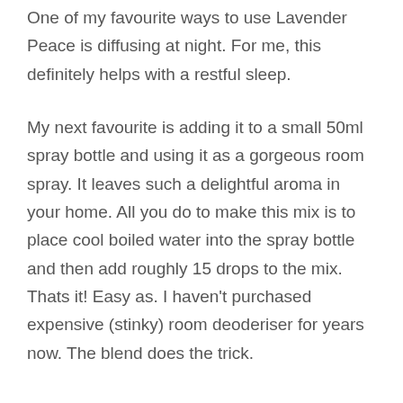One of my favourite ways to use Lavender Peace is diffusing at night. For me, this definitely helps with a restful sleep.
My next favourite is adding it to a small 50ml spray bottle and using it as a gorgeous room spray. It leaves such a delightful aroma in your home. All you do to make this mix is to place cool boiled water into the spray bottle and then add roughly 15 drops to the mix. Thats it! Easy as. I haven't purchased expensive (stinky) room deoderiser for years now. The blend does the trick.